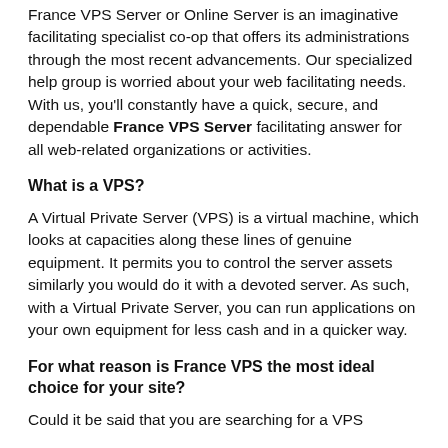France VPS Server or Online Server is an imaginative facilitating specialist co-op that offers its administrations through the most recent advancements. Our specialized help group is worried about your web facilitating needs. With us, you'll constantly have a quick, secure, and dependable France VPS Server facilitating answer for all web-related organizations or activities.
What is a VPS?
A Virtual Private Server (VPS) is a virtual machine, which looks at capacities along these lines of genuine equipment. It permits you to control the server assets similarly you would do it with a devoted server. As such, with a Virtual Private Server, you can run applications on your own equipment for less cash and in a quicker way.
For what reason is France VPS the most ideal choice for your site?
Could it be said that you are searching for a VPS